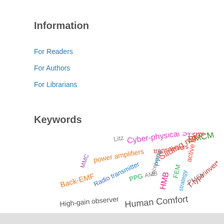Information
For Readers
For Authors
For Librarians
Keywords
[Figure (infographic): Word cloud containing engineering keywords: Litz, Cyber-physical System, EMCM, transceivers, MMC, power amplifiers, PWM, Sliding mode control, active rectifier, Back-EMF, Radio transmitter, PPG, AMB, receivers, HMB, FEM, strategy, PMSM, T-type inverter, High-gain observer, Human Comfort]